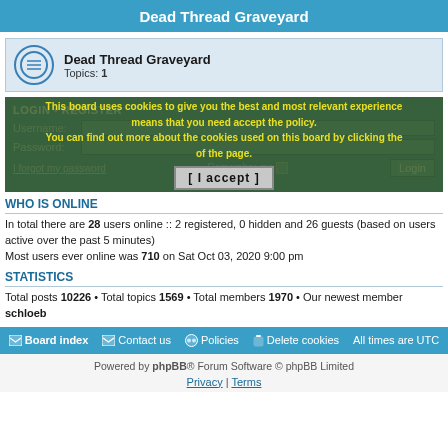Dead Thread Graveyard
Dead Thread Graveyard
Topics: 1
LOGIN • REGISTER
This board uses cookies to give you the best and most relevant experience means that you need accept the policy. You can find out more about the cookies used on this board by clicking the of the page.
[ I accept ]
WHO IS ONLINE
In total there are 28 users online :: 2 registered, 0 hidden and 26 guests (based on users active over the past 5 minutes)
Most users ever online was 710 on Sat Oct 03, 2020 9:00 pm
STATISTICS
Total posts 10226 • Total topics 1569 • Total members 1970 • Our newest member schloeb
Board index   Contact us   Policies   Delete cookies   All times are UTC
Powered by phpBB® Forum Software © phpBB Limited
Privacy | Terms